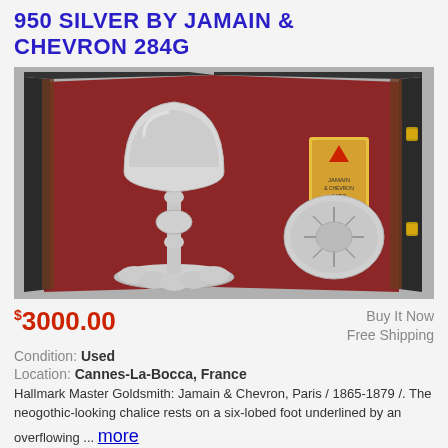950 SILVER BY JAMAIN & CHEVRON 284G
[Figure (photo): Silver chalice and paten in an open black leather case with red velvet lining and brass clasps. The chalice is tall with a decorative stem, and the paten is visible on the right side of the case.]
$3000.00
Buy It Now
Free Shipping
Condition: Used
Location: Cannes-La-Bocca, France
Hallmark Master Goldsmith: Jamain & Chevron, Paris / 1865-1879 /. The neogothic-looking chalice rests on a six-lobed foot underlined by an overflowing ... more